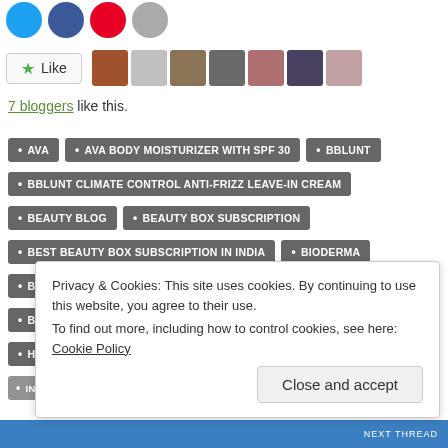[Figure (other): Social media share buttons: Twitter, Facebook, Pinterest, Email icons in circular format]
[Figure (other): Like button with star icon and row of 7 blogger avatar thumbnails]
7 bloggers like this.
AVA
AVA BODY MOISTURIZER WITH SPF 30
BBLUNT
BBLUNT CLIMATE CONTROL ANTI-FRIZZ LEAVE-IN CREAM
BEAUTY BLOG
BEAUTY BOX SUBSCRIPTION
BEST BEAUTY BOX SUBSCRIPTION IN INDIA
BIODERMA
BIODERMA SPF 50+
BOTTEGA LUNGAVITA
BOTTEGA LUNGAVITA VITA AGE IN FACE SCRUB
FACE SCRUB
HEDONISTA
HEDONISTA FLEUR FROZEN ITTAR
Privacy & Cookies: This site uses cookies. By continuing to use this website, you agree to their use. To find out more, including how to control cookies, see here: Cookie Policy
Close and accept